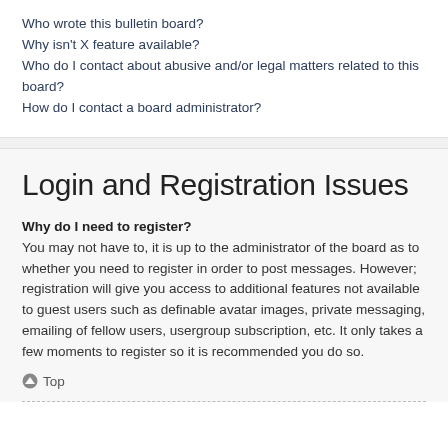Who wrote this bulletin board?
Why isn't X feature available?
Who do I contact about abusive and/or legal matters related to this board?
How do I contact a board administrator?
Login and Registration Issues
Why do I need to register?
You may not have to, it is up to the administrator of the board as to whether you need to register in order to post messages. However; registration will give you access to additional features not available to guest users such as definable avatar images, private messaging, emailing of fellow users, usergroup subscription, etc. It only takes a few moments to register so it is recommended you do so.
Top